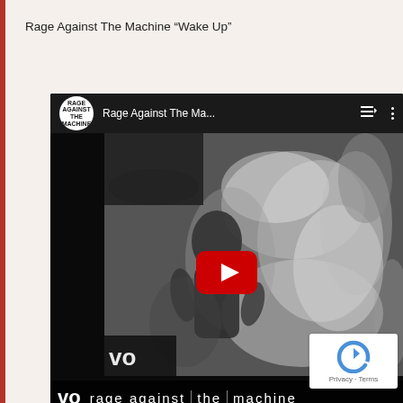Rage Against The Machine “Wake Up”
[Figure (screenshot): YouTube video embed showing Rage Against The Machine channel with album art (black and white image of person in water/flames), YouTube play button overlay, and 'rage against the machine' text at bottom. Channel logo shows 'RAGE AGAINST THE MACHINE' in white circle.]
Privacy · Terms